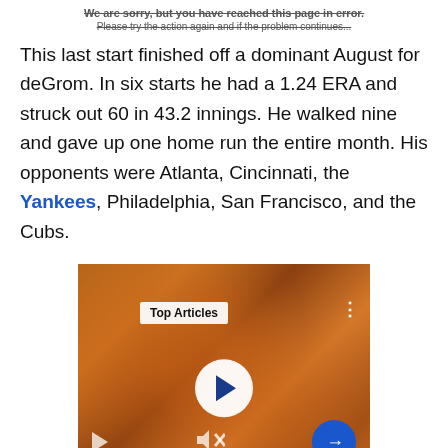We are sorry, but you have reached this page in error.
Please try the action again and if the problem continues...
This last start finished off a dominant August for deGrom. In six starts he had a 1.24 ERA and struck out 60 in 43.2 innings. He walked nine and gave up one home run the entire month. His opponents were Atlanta, Cincinnati, the Yankees, Philadelphia, San Francisco, and the Cubs.
[Figure (screenshot): Video player screenshot showing a crowd of orange-clad fans with smoke, with Top Articles badge, play button, mute button, arrow navigation button, and caption reading 'F1 Schedule: How and what to watch at the Dutch Grand Prix (Zandvoort)']